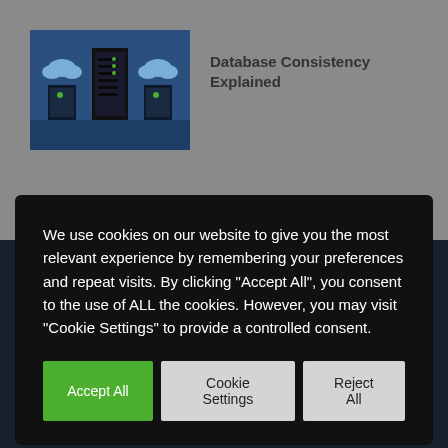[Figure (illustration): Thumbnail image of a database/server illustration with blue background showing server racks and cloud icons]
Database Consistency Explained
We use cookies on our website to give you the most relevant experience by remembering your preferences and repeat visits. By clicking “Accept All”, you consent to the use of ALL the cookies. However, you may visit “Cookie Settings” to provide a controlled consent.
Accept All | Cookie Settings | Reject All
© TechNative 2022 | All Rights Reserved
info@technative.io